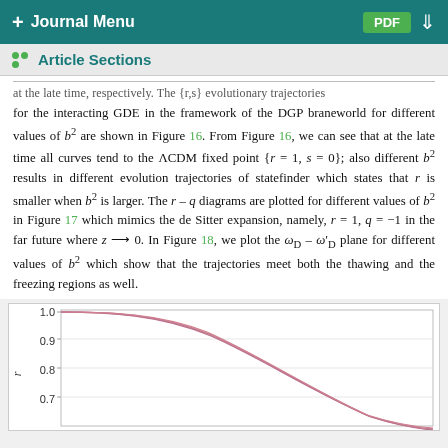+ Journal Menu   PDF ↓
Article Sections
at the late time, respectively. The {r,s} evolutionary trajectories for the interacting GDE in the framework of the DGP braneworld for different values of b² are shown in Figure 16. From Figure 16, we can see that at the late time all curves tend to the ΛCDM fixed point {r = 1, s = 0}; also different b² results in different evolution trajectories of statefinder which states that r is smaller when b² is larger. The r – q diagrams are plotted for different values of b² in Figure 17 which mimics the de Sitter expansion, namely, r = 1, q = −1 in the far future where z → 0. In Figure 18, we plot the ω_D – ω'_D plane for different values of b² which show that the trajectories meet both the thawing and the freezing regions as well.
[Figure (continuous-plot): A plot showing curves descending from approximately r=1.0 at top, with y-axis labeled r and values 0.7, 0.8, 0.9, 1.0 visible. The x-axis is partially shown. Multiple overlapping curves (pink/mauve colored) are visible.]